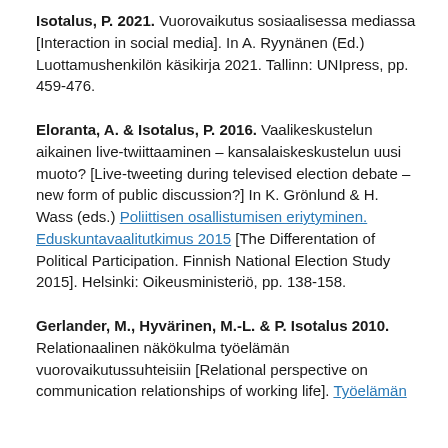Isotalus, P. 2021. Vuorovaikutus sosiaalisessa mediassa [Interaction in social media]. In A. Ryynänen (Ed.) Luottamushenkilön käsikirja 2021. Tallinn: UNIpress, pp. 459-476.
Eloranta, A. & Isotalus, P. 2016. Vaalikeskustelun aikainen live-twiittaaminen – kansalaiskeskustelun uusi muoto? [Live-tweeting during televised election debate – new form of public discussion?] In K. Grönlund & H. Wass (eds.) Poliittisen osallistumisen eriytyminen. Eduskuntavaalitutkimus 2015 [The Differentation of Political Participation. Finnish National Election Study 2015]. Helsinki: Oikeusministeriö, pp. 138-158.
Gerlander, M., Hyvärinen, M.-L. & P. Isotalus 2010. Relationaalinen näkökulma työelämän vuorovaikutussuhteisiin [Relational perspective on communication relationships of working life]. Työelämän...